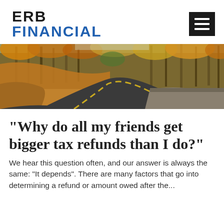ERB FINANCIAL
[Figure (photo): Winding two-lane road through an autumn forest with orange and yellow foliage on hillsides]
“Why do all my friends get bigger tax refunds than I do?”
We hear this question often, and our answer is always the same: “It depends”. There are many factors that go into determining a refund or amount owed after the...